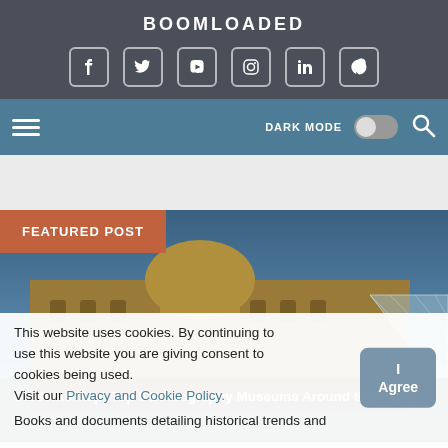BOOMLOADED
[Figure (infographic): Social media icons: Facebook, Twitter, YouTube, Instagram, LinkedIn, Pinterest in rounded square outlines on dark grey background]
[Figure (screenshot): Navigation bar with hamburger menu, DARK MODE toggle switch, and search icon on steel blue background]
FEATURED POST
[Figure (photo): Photo of the Louvre museum with glass pyramid and ornate building against a blue sky]
Students Map: Top 5 Ethnography Museums Around the World
Books and documents detailing historical trends and
This website uses cookies. By continuing to use this website you are giving consent to cookies being used. Visit our Privacy and Cookie Policy.